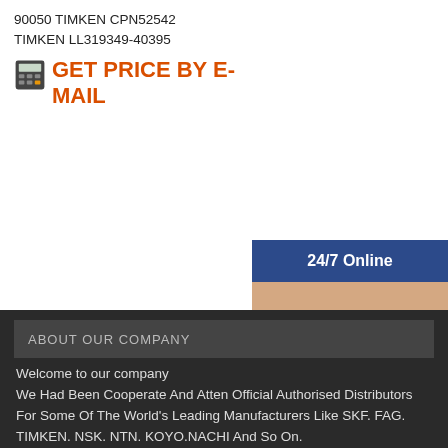90050 TIMKEN CPN52542
TIMKEN LL319349-40395
GET PRICE BY E-MAIL
[Figure (infographic): 24/7 Online banner with customer service agent photo, Have any requests click here panel, and Quotation button]
ABOUT OUR COMPANY
Welcome to our company
We Had Been Cooperate And Atten Official Authorised Distributors For Some Of The World's Leading Manufacturers Like SKF. FAG. TIMKEN. NSK. NTN. KOYO.NACHI And So On.